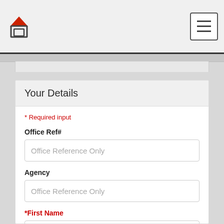Logo and navigation menu header
* Required input
Office Ref#
Office Reference Only
Agency
Office Reference Only
*First Name
Tom
*Last Name
Smith